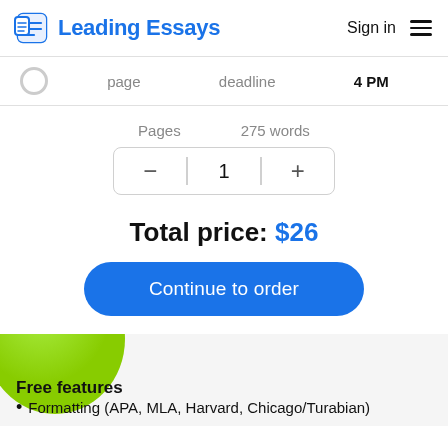Leading Essays
page   deadline   4 PM
Pages   275 words
1
Total price: $26
Continue to order
Free features
Formatting (APA, MLA, Harvard, Chicago/Turabian)